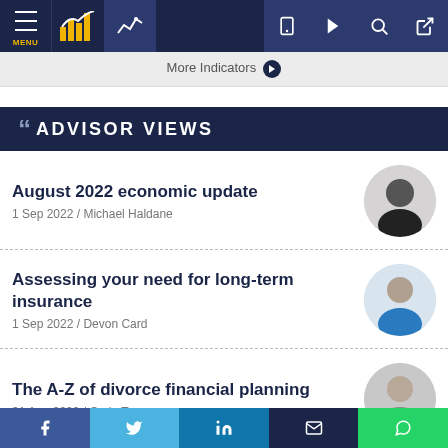Navigation bar with MENU, charts icon, line chart icon, mobile icon, play icon, search icon, login icon
More Indicators →
❝ ADVISOR VIEWS
August 2022 economic update
1 Sep 2022 / Michael Haldane
Assessing your need for long-term insurance
1 Sep 2022 / Devon Card
The A-Z of divorce financial planning
31 Aug 2022 / Craig Torr
Social share bar: Facebook, Twitter, LinkedIn, Email, WhatsApp